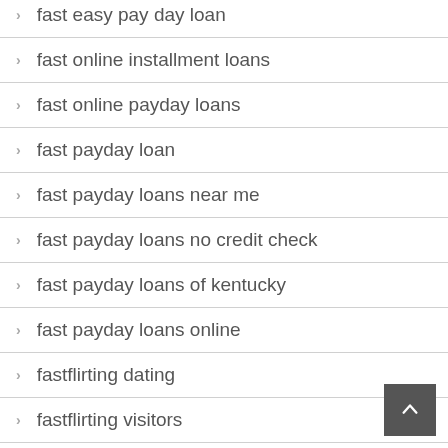fast easy pay day loan
fast online installment loans
fast online payday loans
fast payday loan
fast payday loans near me
fast payday loans no credit check
fast payday loans of kentucky
fast payday loans online
fastflirting dating
fastflirting visitors